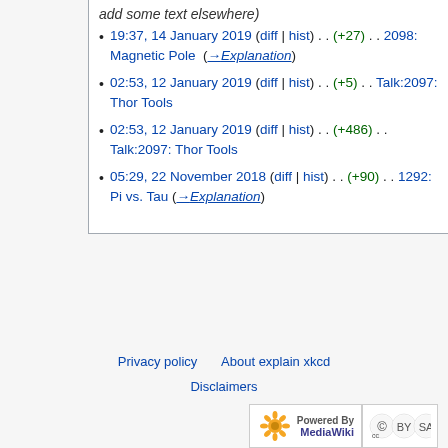19:37, 14 January 2019 (diff | hist) . . (+27) . . 2098: Magnetic Pole (→Explanation)
02:53, 12 January 2019 (diff | hist) . . (+5) . . Talk:2097: Thor Tools
02:53, 12 January 2019 (diff | hist) . . (+486) . . Talk:2097: Thor Tools
05:29, 22 November 2018 (diff | hist) . . (+90) . . 1292: Pi vs. Tau (→Explanation)
Privacy policy   About explain xkcd   Disclaimers
[Figure (logo): Powered by MediaWiki logo and Creative Commons BY-SA license badge]